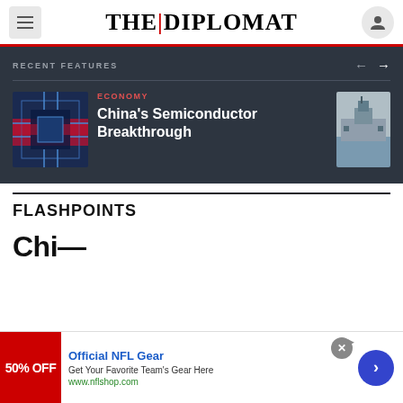THE | DIPLOMAT
RECENT FEATURES
China's Semiconductor Breakthrough
[Figure (photo): Thumbnail image showing China semiconductor/chip imagery with Chinese flag]
[Figure (photo): Thumbnail image of military warship]
FLASHPOINTS
Official NFL Gear
Get Your Favorite Team's Gear Here
www.nflshop.com